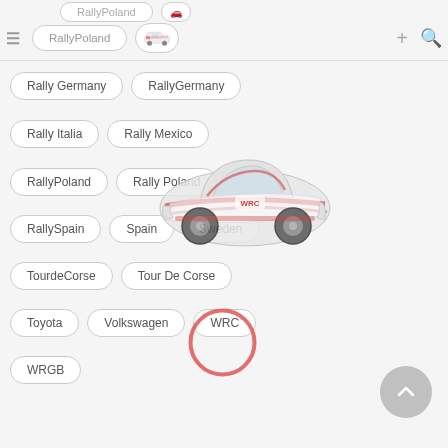[Figure (screenshot): Mobile app UI screenshot showing a tag/category browser for rally racing content. Displays pill-shaped tags: Rally Germany, RallyGermany, Rally Italia, Rally Mexico, RallyPoland, Rally Poland, RallySpain, Spain, Sweden, TourdeCorse, Tour De Corse, Toyota, Volkswagen, WRC, WRGB. A rally car illustration overlays the middle section. A red circle outline appears near the Volkswagen tag. Navigation bar with hamburger menu, RallyPoland tag, car icon, plus and search icons at top. Scroll-to-top button at bottom right.]